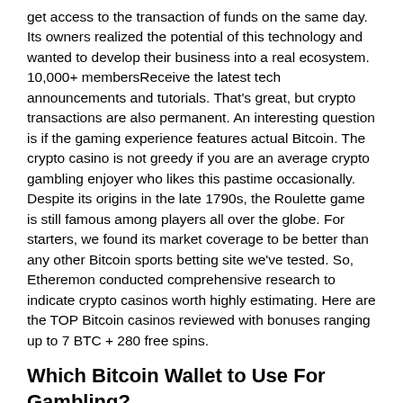get access to the transaction of funds on the same day. Its owners realized the potential of this technology and wanted to develop their business into a real ecosystem. 10,000+ membersReceive the latest tech announcements and tutorials. That's great, but crypto transactions are also permanent. An interesting question is if the gaming experience features actual Bitcoin. The crypto casino is not greedy if you are an average crypto gambling enjoyer who likes this pastime occasionally. Despite its origins in the late 1790s, the Roulette game is still famous among players all over the globe. For starters, we found its market coverage to be better than any other Bitcoin sports betting site we've tested. So, Etheremon conducted comprehensive research to indicate crypto casinos worth highly estimating. Here are the TOP Bitcoin casinos reviewed with bonuses ranging up to 7 BTC + 280 free spins.
Which Bitcoin Wallet to Use For Gambling?
As discussed earlier, another aspect of gambling with BTC is decentralized. Therefore, whenever gambling becomes problematic, these platforms will provide tools to help you out. Related Reading: Best Online Casinos Canada Players Can Sign Up to. However, these laws don't work against Bitcoin because it's not a normal currency. Research Their Reputation. Betbeard bitcoin casino main strengths are the large variety of slots, more than 4000 slot games, and the ability to use VPN and open them all. Oftentimes you get unique bonuses based on using cryptocurrency. CONS: Quite young